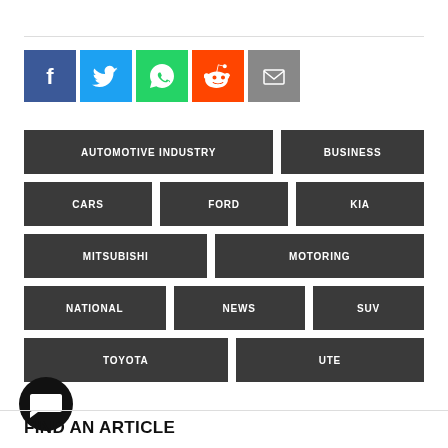[Figure (other): Social share buttons: Facebook (blue), Twitter (light blue), WhatsApp (green), Reddit (orange), Email (grey)]
AUTOMOTIVE INDUSTRY
BUSINESS
CARS
FORD
KIA
MITSUBISHI
MOTORING
NATIONAL
NEWS
SUV
TOYOTA
UTE
FIND AN ARTICLE